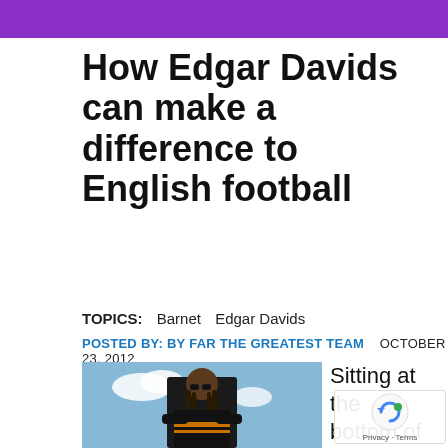[Figure (illustration): Purple banner at top of page]
How Edgar Davids can make a difference to English football
TOPICS:   Barnet   Edgar Davids
POSTED BY: BY FAR THE GREATEST TEAM   OCTOBER 23, 2012
[Figure (photo): Photo of Edgar Davids wearing glasses and a black and orange tracksuit, arms crossed, against a blue sky with clouds]
Sitting at the bottom of Lea Two wit th